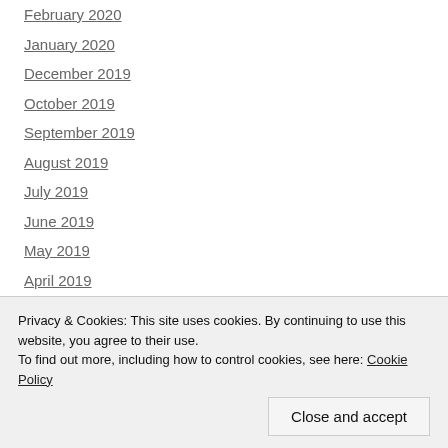February 2020
January 2020
December 2019
October 2019
September 2019
August 2019
July 2019
June 2019
May 2019
April 2019
March 2019
January 2019
Privacy & Cookies: This site uses cookies. By continuing to use this website, you agree to their use.
To find out more, including how to control cookies, see here: Cookie Policy
Close and accept